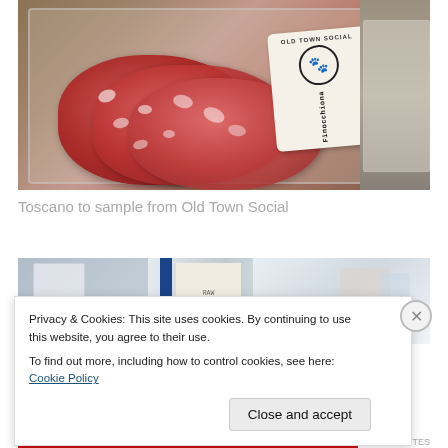[Figure (photo): Packaged sliced salami/Toscano meat product in clear plastic packaging with a white label reading 'Finocchiona' and a circular logo for 'Old Town Social', displayed on a stone/granite surface]
Toscano to sample from Old Town Social
[Figure (photo): Partial view of various packaged products on a shelf or counter, with blue packaging elements visible]
Privacy & Cookies: This site uses cookies. By continuing to use this website, you agree to their use. To find out more, including how to control cookies, see here: Cookie Policy
Close and accept